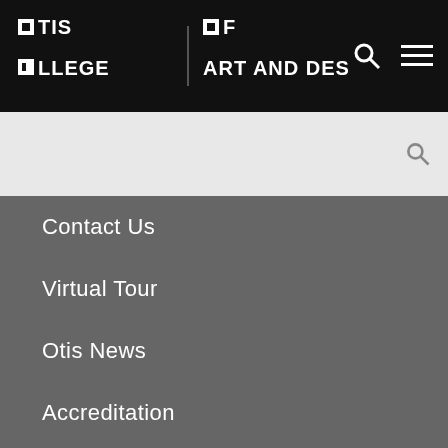Otis College of Art and Design
Contact Us
Virtual Tour
Otis News
Accreditation
Accessibility
Hire from Otis